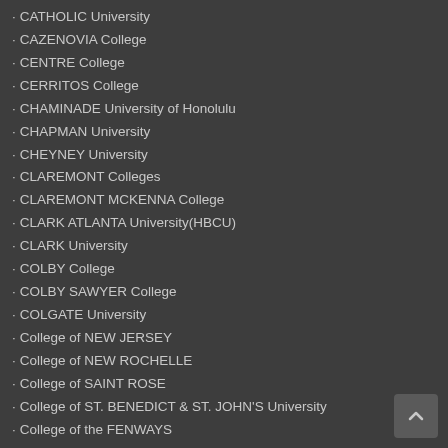CATHOLIC University
CAZENOVIA College
CENTRE College
CERRITOS College
CHAMINADE University of Honolulu
CHAPMAN University
CHEYNEY University
CLAREMONT Colleges
CLAREMONT MCKENNA College
CLARK ATLANTA University(HBCU)
CLARK University
COLBY College
COLBY SAWYER College
COLGATE University
College of NEW JERSEY
College of NEW ROCHELLE
College of SAINT ROSE
College of ST. BENEDICT & ST. JOHN'S University
College of the FENWAYS